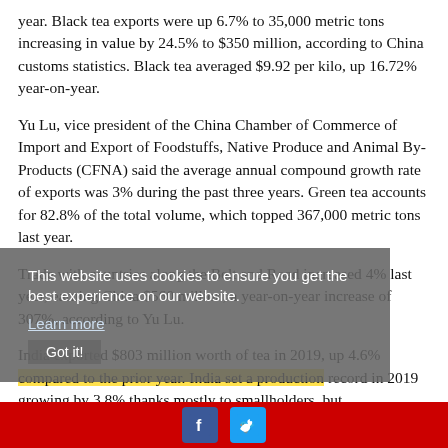year. Black tea exports were up 6.7% to 35,000 metric tons increasing in value by 24.5% to $350 million, according to China customs statistics. Black tea averaged $9.92 per kilo, up 16.72% year-on-year.
Yu Lu, vice president of the China Chamber of Commerce of Import and Export of Foodstuffs, Native Produce and Animal By-Products (CFNA) said the average annual compound growth rate of exports was 3% during the past three years. Green tea accounts for 82.8% of the total volume, which topped 367,000 metric tons last year.
Trade with countries along the Belt and Road increased 4% last year, earning China $560 million, a year-on-year increase of 307%, according to Yu Lu.
India exported $803 million worth of tea in 2019, up 4.6% compared to the prior year. India set a production record in 2019 growing by 3.8% thanks mostly to smallholders, but
This website uses cookies to ensure you get the best experience on our website. Learn more Got it!